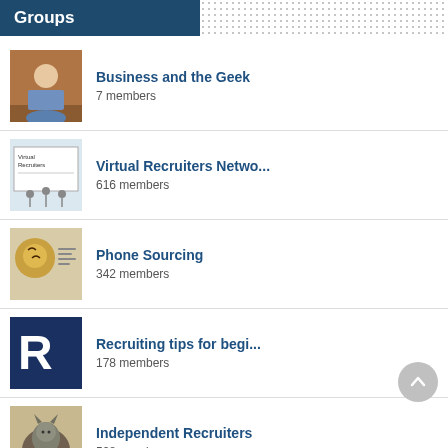Groups
Business and the Geek
7 members
Virtual Recruiters Netwo...
616 members
Phone Sourcing
342 members
Recruiting tips for begi...
178 members
Independent Recruiters
528 members
California Recruiters
181 members
Recruiters Looking For S...
792 members